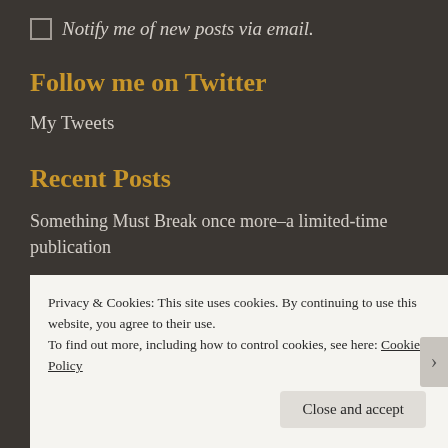Notify me of new posts via email.
Follow me on Twitter
My Tweets
Recent Posts
Something Must Break once more–a limited-time publication
Privacy & Cookies: This site uses cookies. By continuing to use this website, you agree to their use.
To find out more, including how to control cookies, see here: Cookie Policy
Close and accept